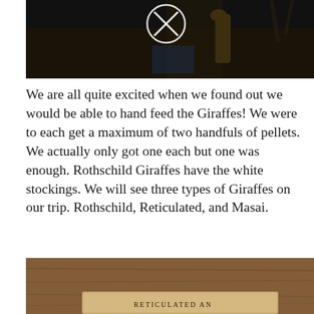[Figure (photo): Dark photo of a giraffe in an enclosure, with a white circle and X overlay on the upper portion. The image is very dark/low light.]
We are all quite excited when we found out we would be able to hand feed the Giraffes!  We were to each get a maximum of two handfuls of pellets. We actually only got one each but one was enough. Rothschild Giraffes have the white stockings. We will see three types of Giraffes on our trip.  Rothschild, Reticulated, and Masai.
[Figure (photo): Photo of a wooden sign/placard, partially visible at the bottom of the page. Text on the sign appears to read something related to 'RETICULATED' giraffes but is partially cut off.]